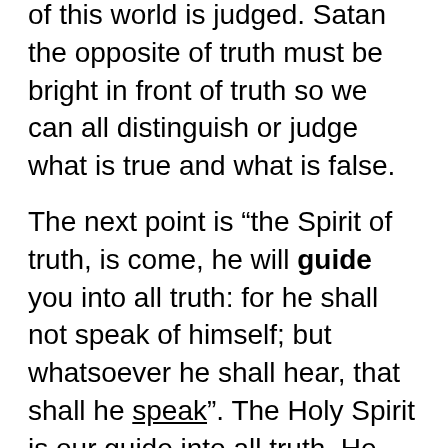of this world is judged. Satan the opposite of truth must be bright in front of truth so we can all distinguish or judge what is true and what is false.
The next point is “the Spirit of truth, is come, he will guide you into all truth: for he shall not speak of himself; but whatsoever he shall hear, that shall he speak”. The Holy Spirit is our guide into all truth. He speaks what He hears from Jesus, the Word, and from God’s written word, the Holy Bible. When we use the word of God as our plum line, (ruler or absolute truth), we will be able to judge, (to reprove, distinguish or convince) ourselves of